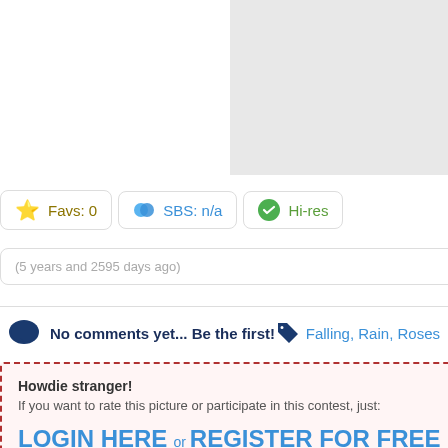[Figure (screenshot): Gray placeholder box in upper right area of page]
Favs: 0
SBS: n/a
Hi-res
(5 years and 2595 days ago)
No comments yet... Be the first!
Falling, Rain, Roses
Howdie stranger!
If you want to rate this picture or participate in this contest, just:
LOGIN HERE or REGISTER FOR FREE